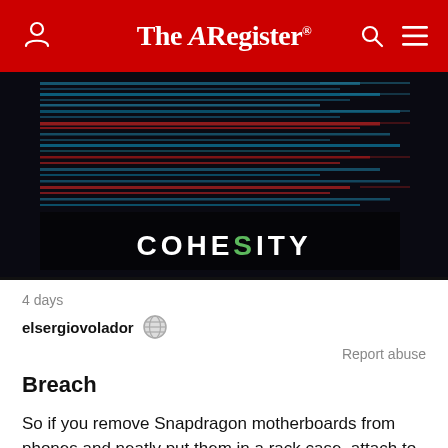The Register
[Figure (logo): Cohesity advertisement banner with horizontal blue and red lines pattern on dark background, with COHESITY logo text at bottom]
4 days
elsergiovolador
Report abuse
Breach
So if you remove Snapdragon motherboards from phones and neatly put them in a rack case, attach to the network and run a Linux on them, are you suddenly going to cause an itchy arm?